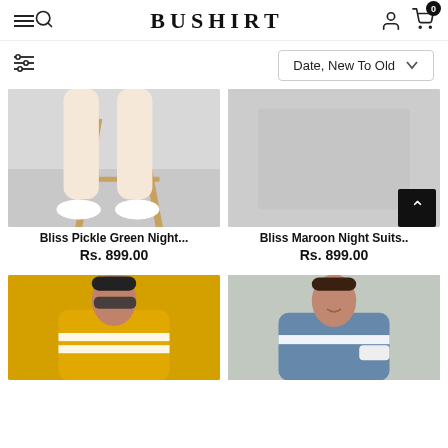BUSHIRT
[Figure (screenshot): Toolbar with filter icon on left and 'Date, New To Old' sort dropdown on right]
[Figure (photo): Product image for Bliss Pickle Green Night Suits - shows legs of model near chair with white sneakers]
Bliss Pickle Green Night...
Rs. 899.00
[Figure (photo): Product image for Bliss Maroon Night Suits - partially visible]
Bliss Maroon Night Suits..
Rs. 899.00
[Figure (photo): Man wearing yellow t-shirt with white stripes, sunglasses]
[Figure (photo): Man wearing blue/grey t-shirt with white stripe, holding white cap]